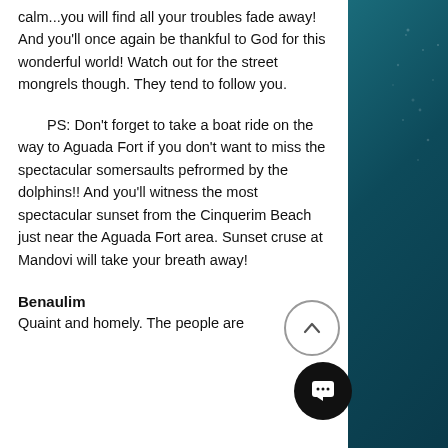calm...you will find all your troubles fade away! And you'll once again be thankful to God for this wonderful world! Watch out for the street mongrels though. They tend to follow you.
PS: Don't forget to take a boat ride on the way to Aguada Fort if you don't want to miss the spectacular somersaults pefrormed by the dolphins!! And you'll witness the most spectacular sunset from the Cinquerim Beach just near the Aguada Fort area. Sunset cruse at Mandovi will take your breath away!
Benaulim
Quaint and homely. The people are